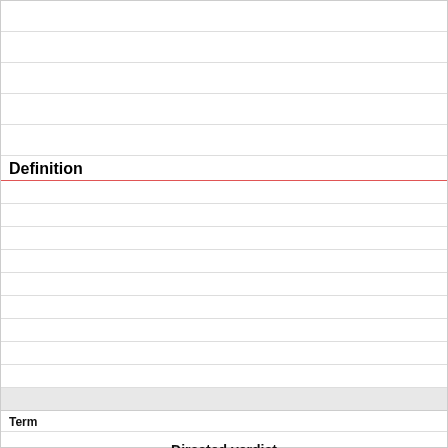Definition
Term
Directed verdict